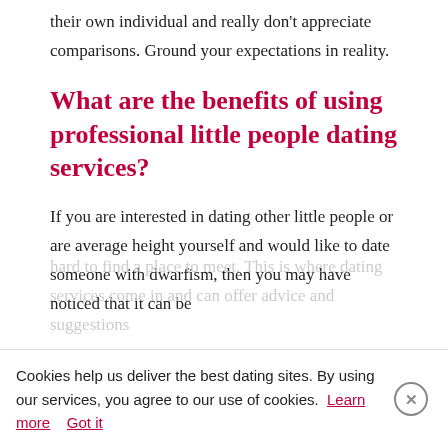their own individual and really don't appreciate comparisons. Ground your expectations in reality.
What are the benefits of using professional little people dating services?
If you are interested in dating other little people or are average height yourself and would like to date someone with dwarfism, then you may have noticed that it can be hard to find a place to meet. This is where dating services come in and can offer advice and suggestions
Cookies help us deliver the best dating sites. By using our services, you agree to our use of cookies. Learn more Got it